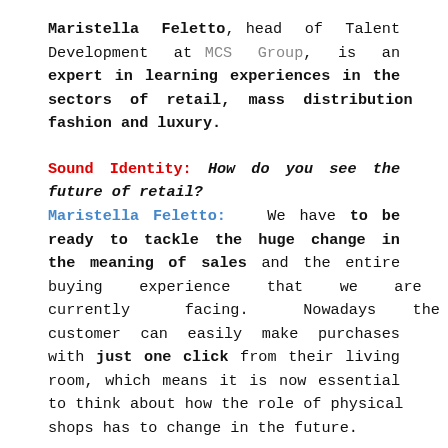Maristella Feletto, head of Talent Development at MCS Group, is an expert in learning experiences in the sectors of retail, mass distribution fashion and luxury.
Sound Identity: How do you see the future of retail? Maristella Feletto: We have to be ready to tackle the huge change in the meaning of sales and the entire buying experience that we are currently facing. Nowadays the customer can easily make purchases with just one click from their living room, which means it is now essential to think about how the role of physical shops has to change in the future.